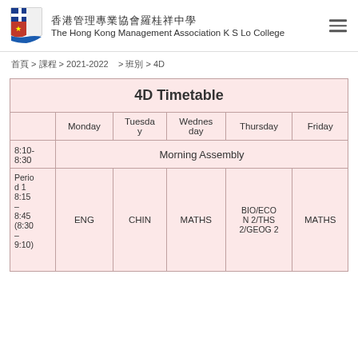香港管理專業協會羅桂祥中學 The Hong Kong Management Association K S Lo College
首頁 > 課程 > 2021-2022 > 班別 > 4D
|  | Monday | Tuesday | Wednesday | Thursday | Friday |
| --- | --- | --- | --- | --- | --- |
| 4D Timetable |  |  |  |  |  |
|  | Monday | Tuesday | Wednesday | Thursday | Friday |
| 8:10-8:30 | Morning Assembly |  |  |  |  |
| Period 1
8:15–8:45
(8:30–9:10) | ENG | CHIN | MATHS | BIO/ECON 2/THS 2/GEOG 2 | MATHS |